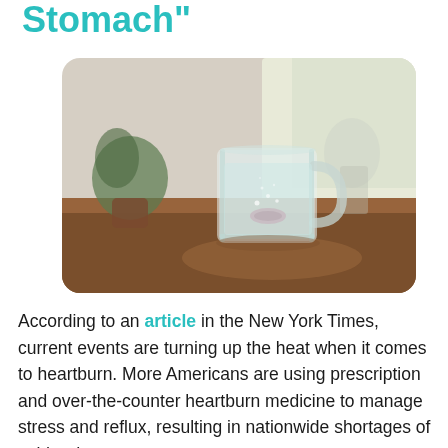Stomach"
[Figure (photo): A clear glass mug containing a fizzing tablet dissolving in water, placed on a wooden table with a blurred potted plant and window in the background.]
According to an article in the New York Times, current events are turning up the heat when it comes to heartburn. More Americans are using prescription and over-the-counter heartburn medicine to manage stress and reflux, resulting in nationwide shortages of acid reducers.